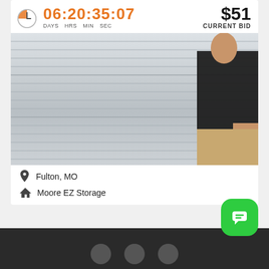06:20:35:07 DAYS HRS MIN SEC
$51 CURRENT BID
[Figure (photo): A person in a black t-shirt standing next to a large corrugated metal roll-up storage unit door. The door takes up most of the frame with horizontal ribbed metal panels in light grey.]
Fulton, MO
Moore EZ Storage